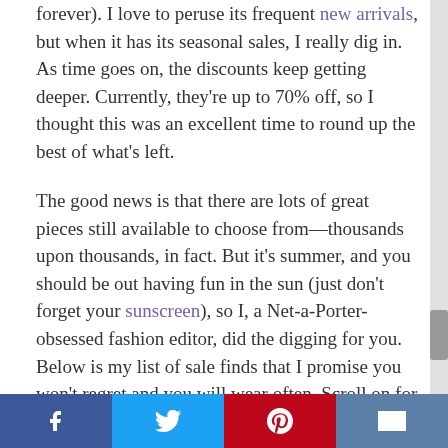forever). I love to peruse its frequent new arrivals, but when it has its seasonal sales, I really dig in. As time goes on, the discounts keep getting deeper. Currently, they're up to 70% off, so I thought this was an excellent time to round up the best of what's left.
The good news is that there are lots of great pieces still available to choose from—thousands upon thousands, in fact. But it's summer, and you should be out having fun in the sun (just don't forget your sunscreen), so I, a Net-a-Porter-obsessed fashion editor, did the digging for you. Below is my list of sale finds that I promise you won't regret and you will wear often. Scroll on for all the denim, dresses, shoes, and more that your sale-loving heart desires.
Social share buttons: Facebook, Twitter, Pinterest, Email